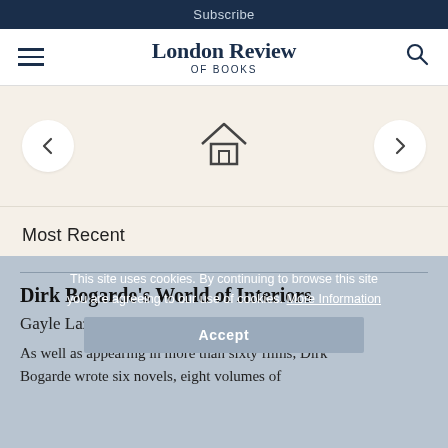Subscribe
London Review of Books
[Figure (illustration): Navigation controls with left arrow button, home icon, and right arrow button on a beige background]
Most Recent
This site uses cookies. By continuing to browse this site you are agreeing to our use of cookies. More Information
Accept
Dirk Bogarde's World of Interiors
Gayle Lazda
As well as appearing in more than sixty films, Dirk Bogarde wrote six novels, eight volumes of